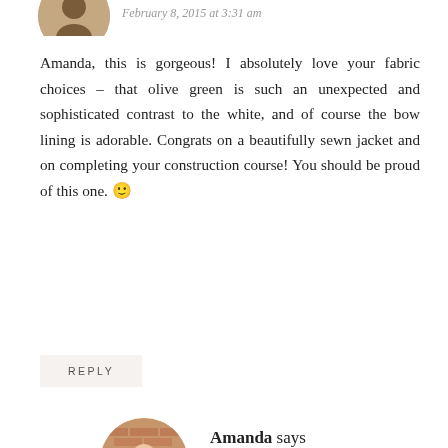[Figure (photo): Partial circular avatar photo of a person, cropped at top]
February 8, 2015 at 3:31 am
Amanda, this is gorgeous! I absolutely love your fabric choices – that olive green is such an unexpected and sophisticated contrast to the white, and of course the bow lining is adorable. Congrats on a beautifully sewn jacket and on completing your construction course! You should be proud of this one. 🙂
REPLY
[Figure (photo): Circular avatar photo of Amanda, a woman in a pink top posing against a brick wall]
Amanda says
February 9, 2015 at 7:35 am
Thank you, Carolyn! The lining is one of my favourite parts- CDC is seriously amazing and it feels so lovely on! And one my subject left to